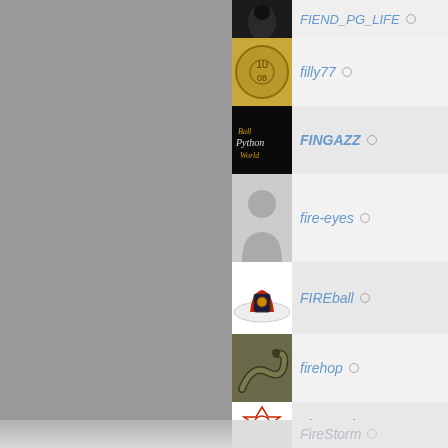[Figure (screenshot): User list from a social/forum platform showing avatar thumbnails and usernames with offline status indicators. Left side is a gray panel. Users listed: FIEND_PG_LIFE (partial, top), filly77, FINGAZZ, fire-eyes, FIREball, firehop, Firemaniv, FireStorm (partial, bottom).]